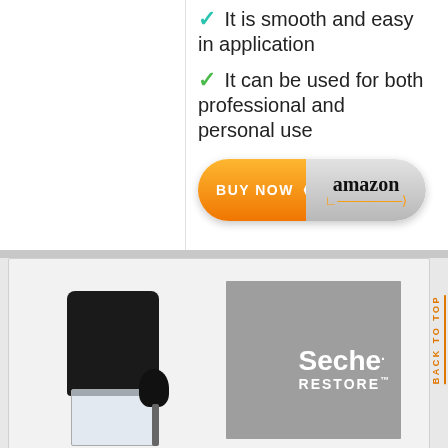It is smooth and easy in application
It can be used for both professional and personal use
[Figure (other): Buy Now on Amazon button — orange arrow-shaped left half with BUY NOW text, silver right half with Amazon logo and smile]
[Figure (photo): Product photo of Seche Restore nail product — black bottle cap, dropper, and gray box packaging showing Seche Restore branding]
BACK TO TOP